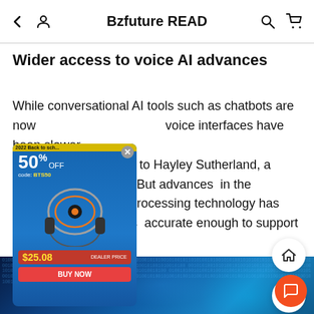Bzfuture READ
Wider access to voice AI advances
While conversational AI tools such as chatbots are now widely adopted, voice interfaces have been slower to catch on, according to Hayley Sutherland, a senior analyst at IDC. But advances in the underlying language processing technology has made voice-assistants accurate enough to support regular interactions.
[Figure (photo): Digital technology themed image with binary digits and glowing blue network/data visualization at the bottom of the page]